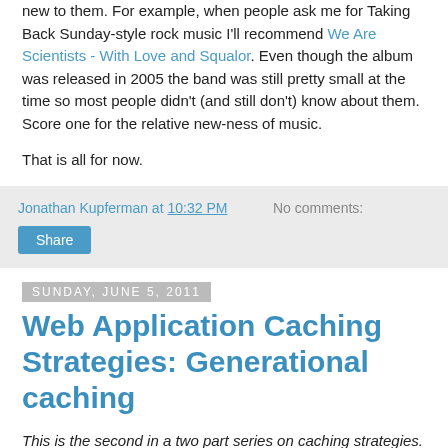new to them. For example, when people ask me for Taking Back Sunday-style rock music I'll recommend We Are Scientists - With Love and Squalor. Even though the album was released in 2005 the band was still pretty small at the time so most people didn't (and still don't) know about them. Score one for the relative new-ness of music.
That is all for now.
Jonathan Kupferman at 10:32 PM   No comments:
Share
Sunday, June 5, 2011
Web Application Caching Strategies: Generational caching
This is the second in a two part series on caching strategies. The first post provided an introduction and described write-through caching.